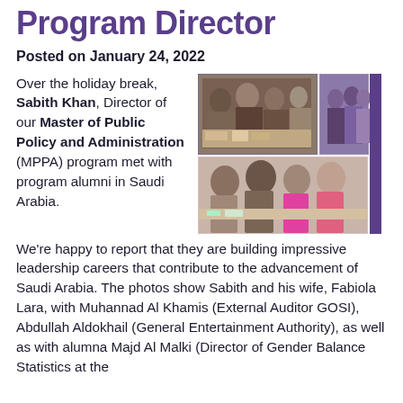Program Director
Posted on January 24, 2022
Over the holiday break, Sabith Khan, Director of our Master of Public Policy and Administration (MPPA) program met with program alumni in Saudi Arabia. We're happy to report that they are building impressive leadership careers that contribute to the advancement of Saudi Arabia. The photos show Sabith and his wife, Fabiola Lara, with Muhannad Al Khamis (External Auditor GOSI), Abdullah Aldokhail (General Entertainment Authority), as well as with alumna Majd Al Malki (Director of Gender Balance Statistics at the
[Figure (photo): Photo collage showing Sabith Khan and alumni meeting in Saudi Arabia. Top image shows a group of men at a dinner table. Bottom image shows Sabith with female alumni. A purple vertical banner on the right reads 'SBM ALUMNI'.]